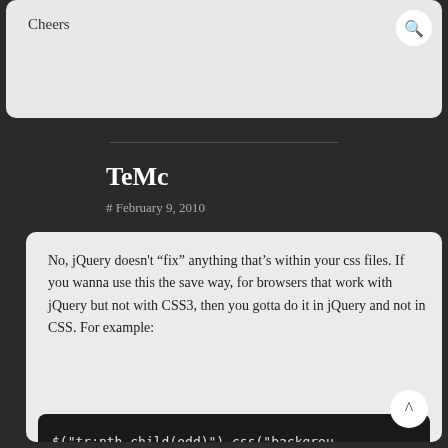Cheers
TeMc
# February 9, 2010
No, jQuery doesn't “fix” anything that’s within your css files. If you wanna use this the save way, for browsers that work with jQuery but not with CSS3, then you gotta do it in jQuery and not in CSS. For example:
$("tr:nth-child(odd)").css("backgrou